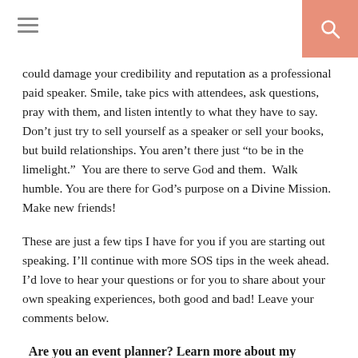[hamburger menu icon] [search icon]
could damage your credibility and reputation as a professional paid speaker. Smile, take pics with attendees, ask questions, pray with them, and listen intently to what they have to say. Don’t just try to sell yourself as a speaker or sell your books, but build relationships. You aren’t there just “to be in the limelight.”  You are there to serve God and them.  Walk humble. You are there for God’s purpose on a Divine Mission. Make new friends!
These are just a few tips I have for you if you are starting out speaking. I’ll continue with more SOS tips in the week ahead. I’d love to hear your questions or for you to share about your own speaking experiences, both good and bad! Leave your comments below.
Are you an event planner? Learn more about my Speaking by clicking here.